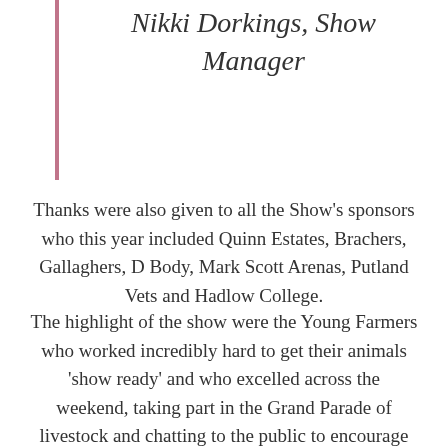Nikki Dorkings, Show Manager
Thanks were also given to all the Show's sponsors who this year included Quinn Estates, Brachers, Gallaghers, D Body, Mark Scott Arenas, Putland Vets and Hadlow College.
The highlight of the show were the Young Farmers who worked incredibly hard to get their animals 'show ready' and who excelled across the weekend, taking part in the Grand Parade of livestock and chatting to the public to encourage young minds into the field of agriculture. An inspiration for the past and